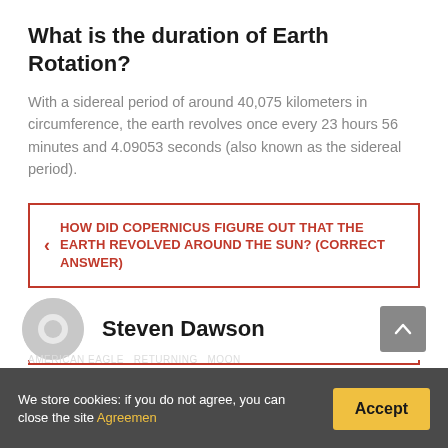What is the duration of Earth Rotation?
With a sidereal period of around 40,075 kilometers in circumference, the earth revolves once every 23 hours 56 minutes and 4.09053 seconds (also known as the sidereal period).
HOW DID COPERNICUS FIGURE OUT THAT THE EARTH REVOLVED AROUND THE SUN? (CORRECT ANSWER)
WHAT IS THE PROOF THAT EARTH ORBITS THE SUN? (CORRECT ANSWER)
Steven Dawson
We store cookies: if you do not agree, you can close the site Agreemen